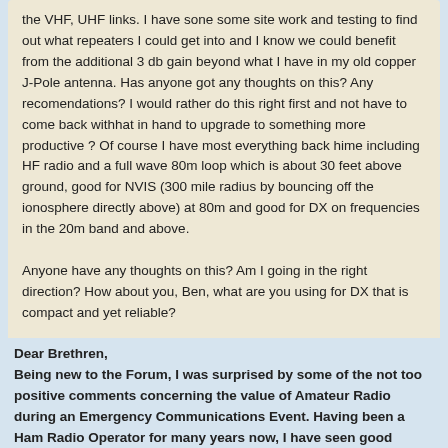the VHF, UHF links. I have sone some site work and testing to find out what repeaters I could get into and I know we could benefit from the additional 3 db gain beyond what I have in my old copper J-Pole antenna. Has anyone got any thoughts on this? Any recomendations? I would rather do this right first and not have to come back withhat in hand to upgrade to something more productive ? Of course I have most everything back hime including HF radio and a full wave 80m loop which is about 30 feet above ground, good for NVIS (300 mile radius by bouncing off the ionosphere directly above) at 80m and good for DX on frequencies in the 20m band and above.

Anyone have any thoughts on this? Am I going in the right direction? How about you, Ben, what are you using for DX that is compact and yet reliable?

Donn
VA7DH
Dear Brethren,
Being new to the Forum, I was surprised by some of the not too positive comments concerning the value of Amateur Radio during an Emergency Communications Event. Having been a Ham Radio Operator for many years now, I have seen good programs and poor programs. (I used to be part of the old ERRS program some years ago).